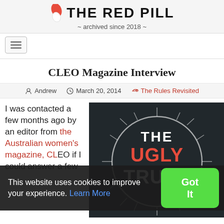THE RED PILL ~ archived since 2018 ~
CLEO Magazine Interview
Andrew  March 20, 2014  The Rules Revisited
I was contacted a few months ago by an editor from the Australian women's magazine, CLEO if I could answer a few
[Figure (photo): Dark chalkboard-style image with stylized text reading 'THE UGLY TRUTH' inside a circle with radiating lines]
This website uses cookies to improve your experience. Learn More
Got It